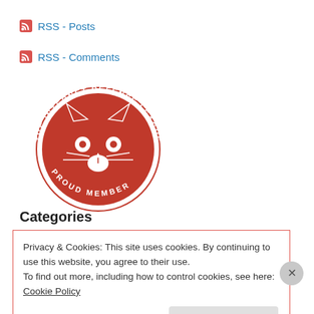RSS - Posts
RSS - Comments
[Figure (logo): The Internet Defense League - Proud Member badge with red cat logo]
Categories
Privacy & Cookies: This site uses cookies. By continuing to use this website, you agree to their use.
To find out more, including how to control cookies, see here: Cookie Policy
Close and accept